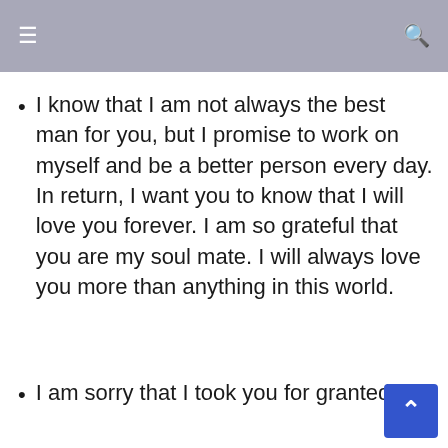≡  🔍
I know that I am not always the best man for you, but I promise to work on myself and be a better person every day. In return, I want you to know that I will love you forever. I am so grateful that you are my soul mate. I will always love you more than anything in this world.
I am sorry that I took you for granted.